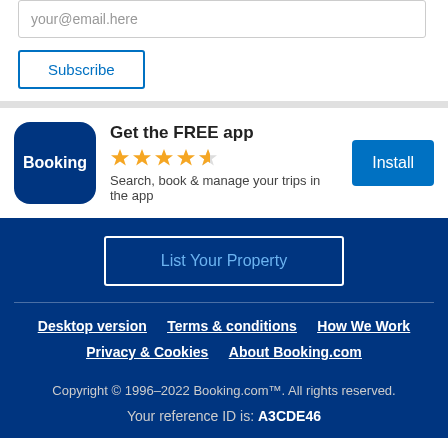your@email.here
Subscribe
Get the FREE app
★★★★½
Search, book & manage your trips in the app
Install
List Your Property
Desktop version   Terms & conditions   How We Work   Privacy & Cookies   About Booking.com
Copyright © 1996–2022 Booking.com™. All rights reserved.
Your reference ID is: A3CDE46